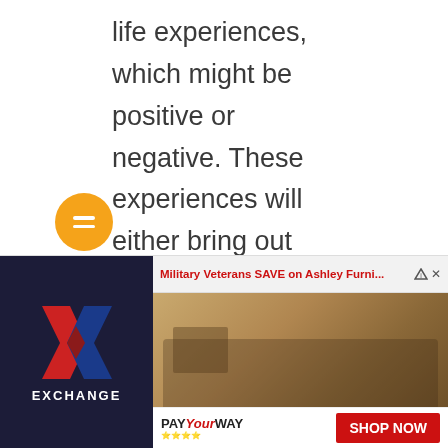life experiences, which might be positive or negative. These experiences will either bring out the best in us or the worst in us. Whatever the experience may be, it doesn't change the fact that life is a journey, and should be lived progressively and not the other way round.

If you ever get overwhelmed by pleasant experiences in life and lack
[Figure (other): Advertisement banner for Ashley Furniture Exchange with Military Veterans discount offer. Shows Exchange logo (red and blue X), text 'Military Veterans SAVE on Ashley Furniture', bedroom furniture image, 'PAY Your WAY' logo, and 'SHOP NOW' button.]